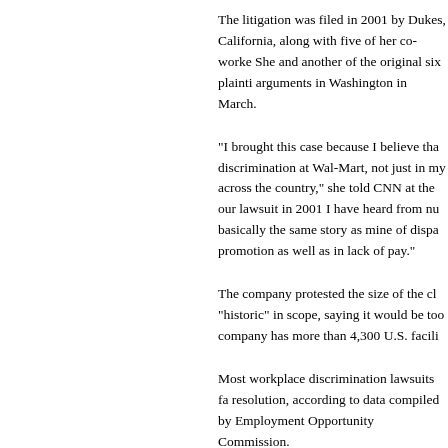The litigation was filed in 2001 by Dukes, California, along with five of her co-workers. She and another of the original six plaintiffs arguments in Washington in March.
"I brought this case because I believe that discrimination at Wal-Mart, not just in my across the country," she told CNN at the our lawsuit in 2001 I have heard from numerous basically the same story as mine of disparate promotion as well as in lack of pay."
The company protested the size of the class, "historic" in scope, saying it would be too large. company has more than 4,300 U.S. facilities.
Most workplace discrimination lawsuits face resolution, according to data compiled by Employment Opportunity Commission.
In 2003, when the Wal-Mart litigation was in early stages, about 27,000 sex discrimination cases were resolved administratively by the Equal Employment